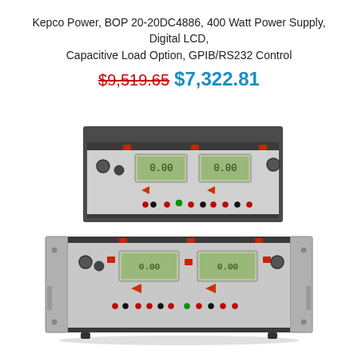Kepco Power, BOP 20-20DC4886, 400 Watt Power Supply, Digital LCD, Capacitive Load Option, GPIB/RS232 Control
$9,519.65 $7,322.81
[Figure (photo): Two Kepco BOP power supply units stacked. The upper unit is a desktop/tabletop style with a dark chassis showing two LCD displays, red indicator buttons, and multiple banana-jack terminals on the front panel. The lower unit is a rack-mount style (wider, lighter gray) also featuring two LCD displays, red indicator buttons, and banana-jack terminals. Both units show typical laboratory power supply front-panel controls.]